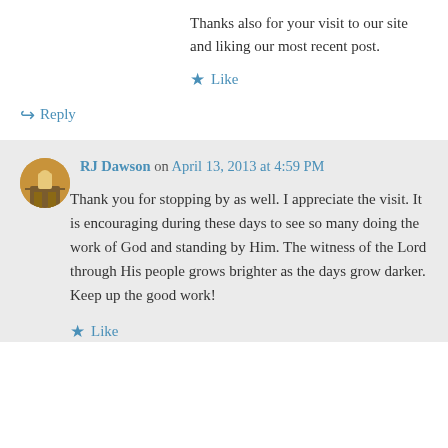Thanks also for your visit to our site and liking our most recent post.
★ Like
↪ Reply
RJ Dawson on April 13, 2013 at 4:59 PM
Thank you for stopping by as well. I appreciate the visit. It is encouraging during these days to see so many doing the work of God and standing by Him. The witness of the Lord through His people grows brighter as the days grow darker. Keep up the good work!
★ Like